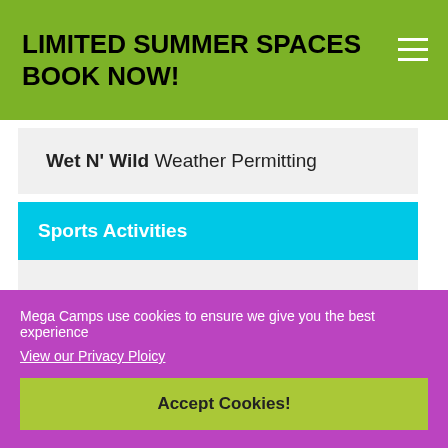LIMITED SUMMER SPACES BOOK NOW!
Wet N' Wild Weather Permitting
Sports Activities
Football, Dodgeball, Rounders, Kwik Cricket, Basketball, Team Games And More
Arts & Crafts
Coming Soon
Mega Camps use cookies to ensure we give you the best experience
View our Privacy Ploicy
Accept Cookies!